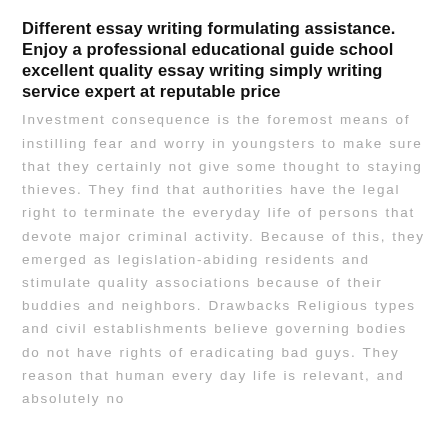Different essay writing formulating assistance. Enjoy a professional educational guide school excellent quality essay writing simply writing service expert at reputable price
Investment consequence is the foremost means of instilling fear and worry in youngsters to make sure that they certainly not give some thought to staying thieves. They find that authorities have the legal right to terminate the everyday life of persons that devote major criminal activity. Because of this, they emerged as legislation-abiding residents and stimulate quality associations because of their buddies and neighbors. Drawbacks Religious types and civil establishments believe governing bodies do not have rights of eradicating bad guys. They reason that human every day life is relevant, and absolutely no